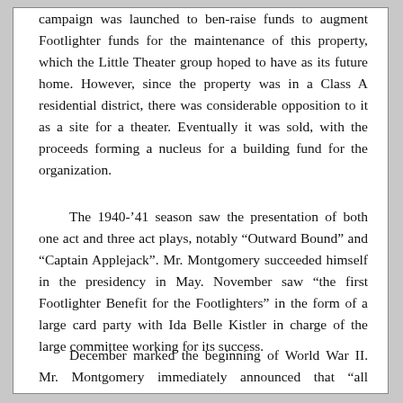campaign was launched to ben-raise funds to augment Footlighter funds for the maintenance of this property, which the Little Theater group hoped to have as its future home. However, since the property was in a Class A residential district, there was considerable opposition to it as a site for a theater. Eventually it was sold, with the proceeds forming a nucleus for a building fund for the organization.
The 1940-'41 season saw the presentation of both one act and three act plays, notably "Outward Bound" and "Captain Applejack". Mr. Montgomery succeeded himself in the presidency in May. November saw "the first Footlighter Benefit for the Footlighters" in the form of a large card party with Ida Belle Kistler in charge of the large committee working for its success.
December marked the beginning of World War II. Mr. Montgomery immediately announced that "all theatrical productions of the Wayne Footlighters during the remainder of the War will